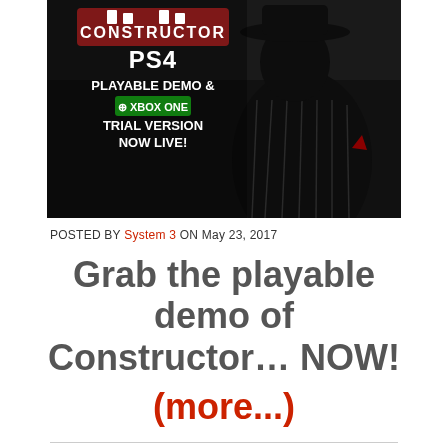[Figure (screenshot): Constructor game promotional image showing PS4 Playable Demo & Xbox One Trial Version Now Live! with a silhouetted figure in a pinstripe suit and fedora hat against a dark city background.]
POSTED BY System 3 ON May 23, 2017
Grab the playable demo of Constructor… NOW!
(more...)
2 COMMENTS